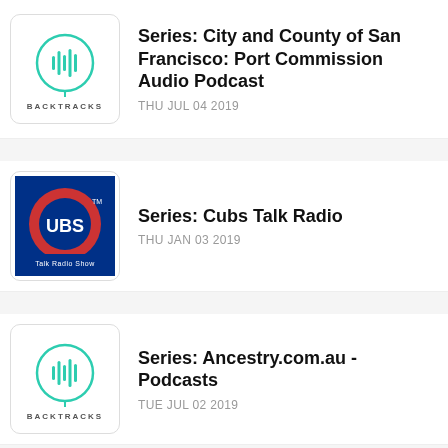[Figure (logo): Backtracks logo - teal waveform with circle on white background]
Series: City and County of San Francisco: Port Commission Audio Podcast
THU JUL 04 2019
[Figure (logo): Cubs Talk Radio Show logo - red C with UBS text on blue background]
Series: Cubs Talk Radio
THU JAN 03 2019
[Figure (logo): Backtracks logo - teal waveform with circle on white background]
Series: Ancestry.com.au - Podcasts
TUE JUL 02 2019
[Figure (illustration): Dark background with blue glowing sphere/orb]
Series: Dive Podcast